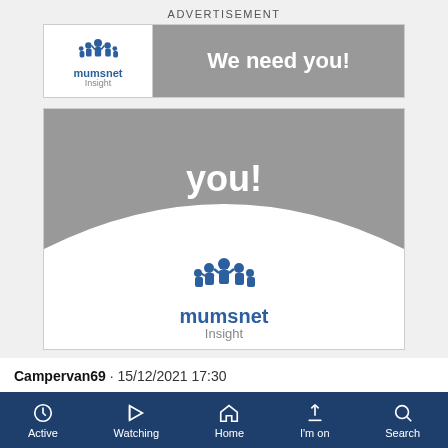ADVERTISEMENT
[Figure (screenshot): Mumsnet Insight banner advertisement showing logo on left and 'We need you!' text on right with grey background]
[Figure (screenshot): Mumsnet Insight large advertisement showing 'you!' text on grey background with arch shape and Mumsnet Insight logo below]
Campervan69 · 15/12/2021 17:30
I find her smile quite odd. Like she has veneers that are too
Active  Watching  Home  I'm on  Search